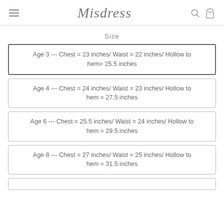Misdress
Size
Age 3 --- Chest = 23 inches/ Waist = 22 inches/ Hollow to hem= 25.5 inches
Age 4 --- Chest = 24 inches/ Waist = 23 inches/ Hollow to hem = 27.5 inches
Age 6 --- Chest = 25.5 inches/ Waist = 24 inches/ Hollow to hem = 29.5 inches
Age 8 --- Chest = 27 inches/ Waist = 25 inches/ Hollow to hem = 31.5 inches